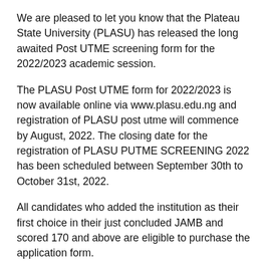We are pleased to let you know that the Plateau State University (PLASU) has released the long awaited Post UTME screening form for the 2022/2023 academic session.
The PLASU Post UTME form for 2022/2023 is now available online via www.plasu.edu.ng and registration of PLASU post utme will commence by August, 2022. The closing date for the registration of PLASU PUTME SCREENING 2022 has been scheduled between September 30th to October 31st, 2022.
All candidates who added the institution as their first choice in their just concluded JAMB and scored 170 and above are eligible to purchase the application form.
In this article, we would give you every information